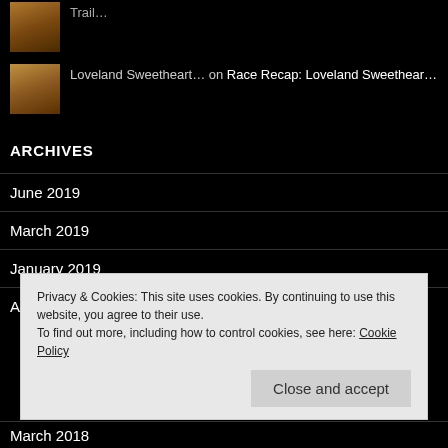Trail...
Loveland Sweetheart... on Race Recap: Loveland Sweethear...
ARCHIVES
June 2019
March 2019
January 2019
August 2018
Privacy & Cookies: This site uses cookies. By continuing to use this website, you agree to their use.
To find out more, including how to control cookies, see here: Cookie Policy
Close and accept
March 2018